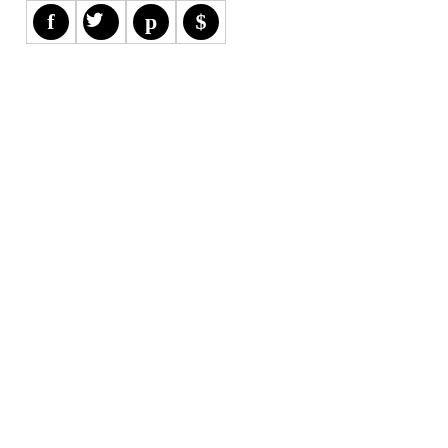[Figure (illustration): Four circular black social media icons in a row: Facebook (f), Twitter (bird), Pinterest (p), and another social icon (s/dollar sign). Each icon is in its own white cell with a light border.]